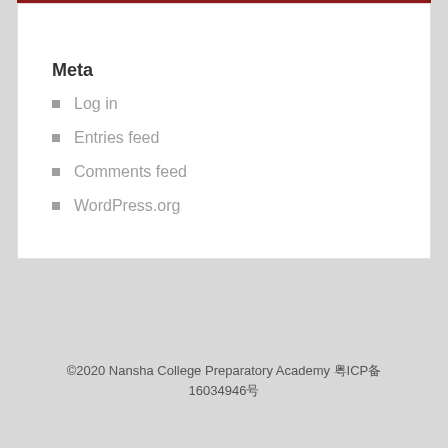Meta
Log in
Entries feed
Comments feed
WordPress.org
©2020 Nansha College Preparatory Academy 粤ICP备 16034946号